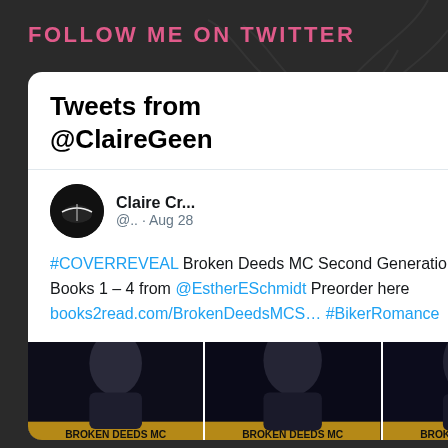FOLLOW ME ON TWITTER
Tweets from @ClaireGeen
[Figure (screenshot): Twitter/X bird logo icon in blue]
Claire Cr... @.. · Aug 28
#COVERREVEAL Broken Deeds MC Second Generation Collection Books 1 – 4 from @EstherESchmidt Preorder here books2read.com/BrokenDeedsMCS… #BikerRomance
[Figure (photo): Three book covers for Broken Deeds MC arranged side by side, dark covers showing tattooed figures]